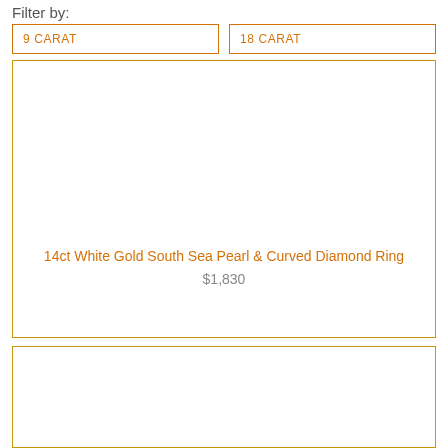Filter by:
9 CARAT
18 CARAT
[Figure (other): Product card with blank image area for 14ct White Gold South Sea Pearl & Curved Diamond Ring]
14ct White Gold South Sea Pearl & Curved Diamond Ring
$1,830
[Figure (other): Second product card with blank image area, partially visible at bottom of page]